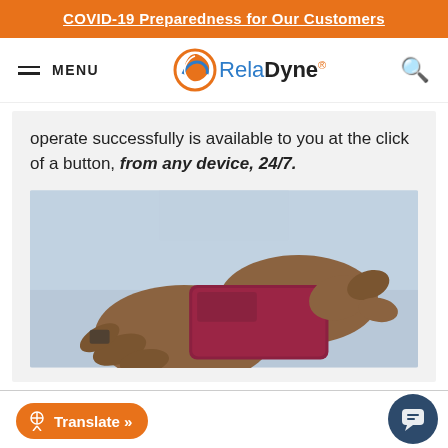COVID-19 Preparedness for Our Customers
MENU | RelaDyne
operate successfully is available to you at the click of a button, from any device, 24/7.
[Figure (photo): Close-up of hands holding and tapping a smartphone, person wearing a light blue shirt]
Translate »